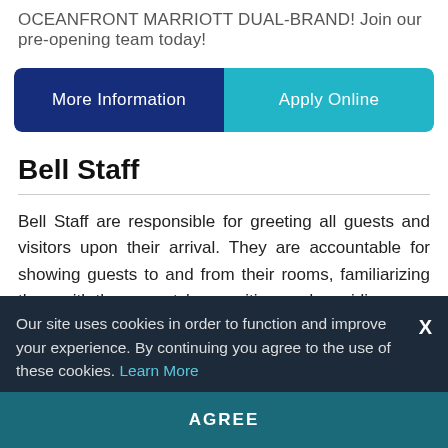OCEANFRONT MARRIOTT DUAL-BRAND! Join our pre-opening team today!
[Figure (other): Two buttons side by side: 'More Information' (dark navy blue) and 'Apply Online' (teal/cyan)]
Bell Staff
Bell Staff are responsible for greeting all guests and visitors upon their arrival. They are accountable for showing guests to and from their rooms, familiarizing them with the property's amenities, and providing
Our site uses cookies in order to function and improve your experience. By continuing you agree to the use of these cookies. Learn More
AGREE